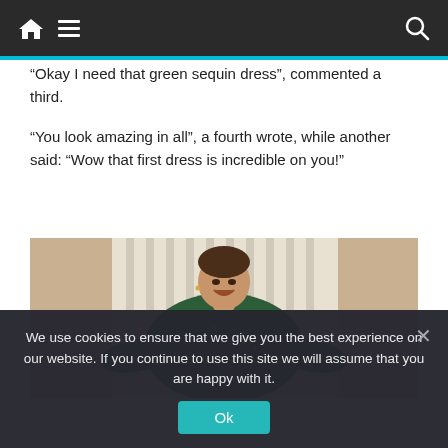Navigation bar with home, menu, and search icons
“Okay I need that green sequin dress”, commented a third.
“You look amazing in all”, a fourth wrote, while another said: “Wow that first dress is incredible on you!”
[Figure (photo): Woman wearing a dark green sequin dress, standing with hands on hips, smiling with mouth open, in front of white vertical blinds]
We use cookies to ensure that we give you the best experience on our website. If you continue to use this site we will assume that you are happy with it.